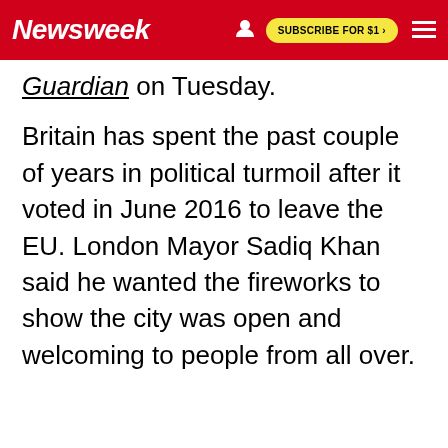Newsweek | SUBSCRIBE FOR $1 >
Guardian on Tuesday.
Britain has spent the past couple of years in political turmoil after it voted in June 2016 to leave the EU. London Mayor Sadiq Khan said he wanted the fireworks to show the city was open and welcoming to people from all over.